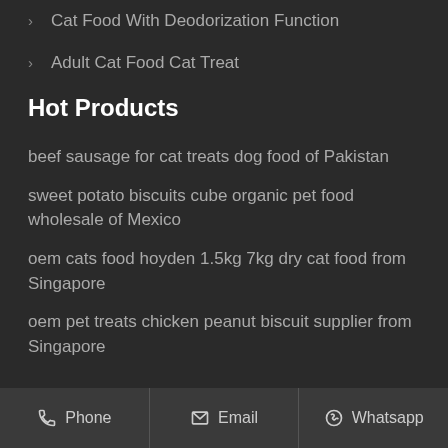Cat Food With Deodorization Function
Adult Cat Food Cat Treat
Hot Products
beef sausage for cat treats dog food of Pakistan
sweet potato biscuits cube organic pet food wholesale of Mexico
oem cats food hoyden 1.5kg 7kg dry cat food from Singapore
oem pet treats chicken peanut biscuit supplier from Singapore
Phone   Email   Whatsapp